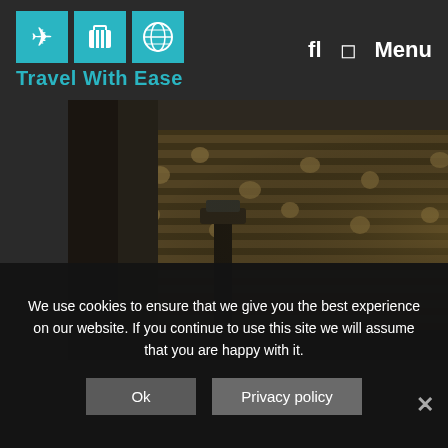Travel With Ease — navigation header with logo icons, search, and Menu
[Figure (photo): Interior of the Paris Catacombs showing walls lined with skulls and bones, a stone pillar/column in the center foreground with a pedestal, dimly lit underground ossuary]
We use cookies to ensure that we give you the best experience on our website. If you continue to use this site we will assume that you are happy with it.
Ok   Privacy policy